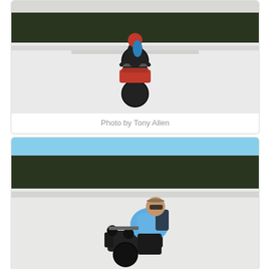[Figure (photo): A person wearing a red helmet and dark clothing riding a fat-tire bicycle loaded with red gear bags across a snowy landscape, with a dense conifer forest in the background.]
Photo by Tony Allen
[Figure (photo): A woman wearing sunglasses and a blue jacket riding a fat-tire bicycle with black gear bags across a snowy trail, with bare trees visible in the background under a blue sky.]